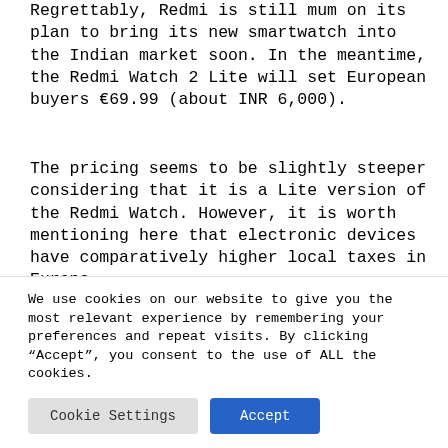Regrettably, Redmi is still mum on its plan to bring its new smartwatch into the Indian market soon. In the meantime, the Redmi Watch 2 Lite will set European buyers €69.99 (about INR 6,000).
The pricing seems to be slightly steeper considering that it is a Lite version of the Redmi Watch. However, it is worth mentioning here that electronic devices have comparatively higher local taxes in Europe.
We use cookies on our website to give you the most relevant experience by remembering your preferences and repeat visits. By clicking “Accept”, you consent to the use of ALL the cookies.
Cookie Settings
Accept